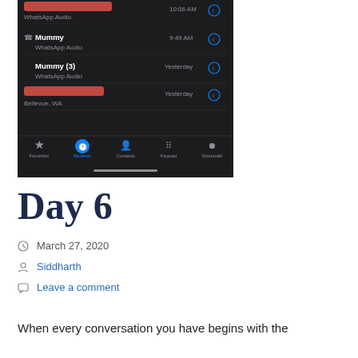[Figure (screenshot): iPhone Phone app Recent Calls screen in dark mode showing call log entries: a redacted name (WhatsApp Audio, 10:06 AM), Mummy (WhatsApp Audio, 9:49 AM), Mummy (3) (WhatsApp Audio, Yesterday), a redacted name (Bellevue, WA, Yesterday). Bottom navigation bar shows Favorites, Recents (active/blue), Contacts, Keypad, Voicemail.]
Day 6
March 27, 2020
Siddharth
Leave a comment
When every conversation you have begins with the